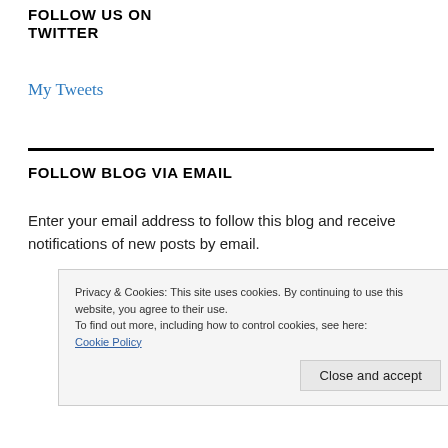FOLLOW US ON TWITTER
My Tweets
FOLLOW BLOG VIA EMAIL
Enter your email address to follow this blog and receive notifications of new posts by email.
Privacy & Cookies: This site uses cookies. By continuing to use this website, you agree to their use.
To find out more, including how to control cookies, see here:
Cookie Policy
Close and accept